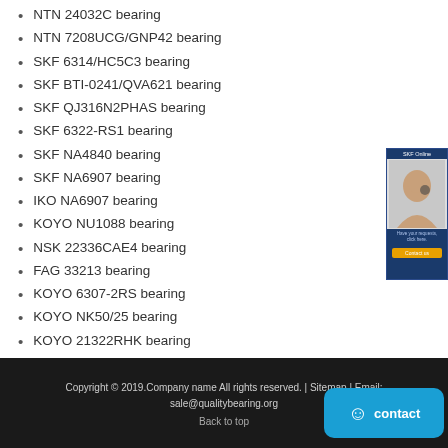NTN 24032C bearing
NTN 7208UCG/GNP42 bearing
SKF 6314/HC5C3 bearing
SKF BTI-0241/QVA621 bearing
SKF QJ316N2PHAS bearing
SKF 6322-RS1 bearing
SKF NA4840 bearing
SKF NA6907 bearing
IKO NA6907 bearing
KOYO NU1088 bearing
NSK 22336CAE4 bearing
FAG 33213 bearing
KOYO 6307-2RS bearing
KOYO NK50/25 bearing
KOYO 21322RHK bearing
KOYO B-710 bearing
NACHI 67388/67322 bearing
[Figure (photo): Customer service representative sidebar advertisement with SKF branding]
Copyright © 2019.Company name All rights reserved. | Sitemap | Email: sale@qualitybearing.org
Back to top